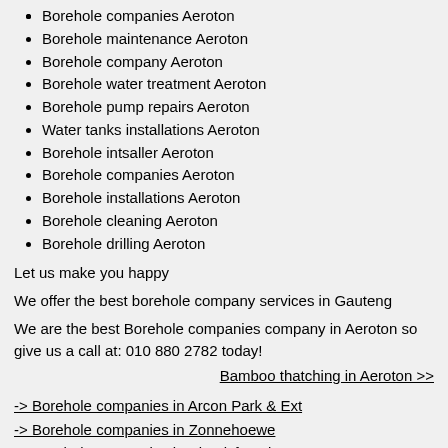Borehole companies Aeroton
Borehole maintenance Aeroton
Borehole company Aeroton
Borehole water treatment Aeroton
Borehole pump repairs Aeroton
Water tanks installations Aeroton
Borehole intsaller Aeroton
Borehole companies Aeroton
Borehole installations Aeroton
Borehole cleaning Aeroton
Borehole drilling Aeroton
Let us make you happy
We offer the best borehole company services in Gauteng
We are the best Borehole companies company in Aeroton so give us a call at: 010 880 2782 today!
Bamboo thatching in Aeroton >>
-> Borehole companies in Arcon Park & Ext
-> Borehole companies in Zonnehoewe
-> Borehole companies in Elandsfontein
-> Borehole companies in Oaklands
-> Borehole companies in Waterval Estate
-> Borehole companies in Hyde Park